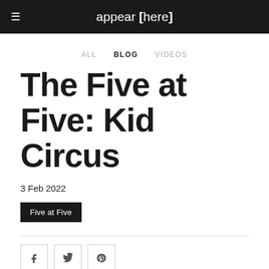appear [here]
ALL   BLOG   VIDEOS
The Five at Five: Kid Circus
3 Feb 2022
Five at Five
[Figure (other): Social sharing icons: Facebook, Twitter, Pinterest]